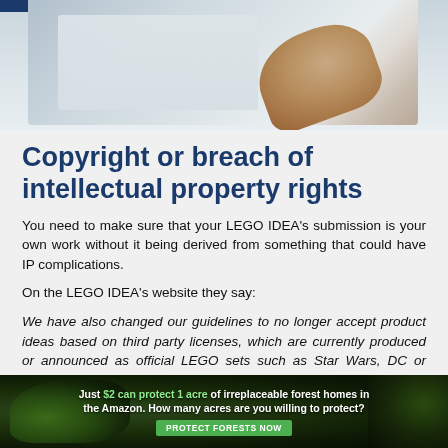[Figure (photo): Photo of hands holding a white sheet/paper, with a blue bar in top-left corner]
Copyright or breach of intellectual property rights
You need to make sure that your LEGO IDEA's submission is your own work without it being derived from something that could have IP complications.
On the LEGO IDEA's website they say:
We have also changed our guidelines to no longer accept product ideas based on third party licenses, which are currently produced or announced as official LEGO sets such as Star Wars, DC or Marvel Super Heroes, Volkswagen and many more.
[Figure (infographic): Advertisement banner: Just $2 can protect 1 acre of irreplaceable forest homes in the Amazon. How many acres are you willing to protect? PROTECT FORESTS NOW]